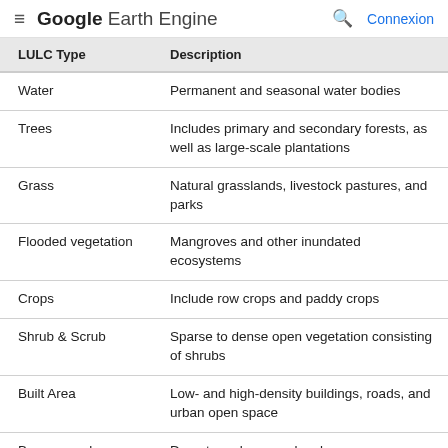Google Earth Engine — Connexion
| LULC Type | Description |
| --- | --- |
| Water | Permanent and seasonal water bodies |
| Trees | Includes primary and secondary forests, as well as large-scale plantations |
| Grass | Natural grasslands, livestock pastures, and parks |
| Flooded vegetation | Mangroves and other inundated ecosystems |
| Crops | Include row crops and paddy crops |
| Shrub & Scrub | Sparse to dense open vegetation consisting of shrubs |
| Built Area | Low- and high-density buildings, roads, and urban open space |
| Bare ground | Deserts and exposed rock |